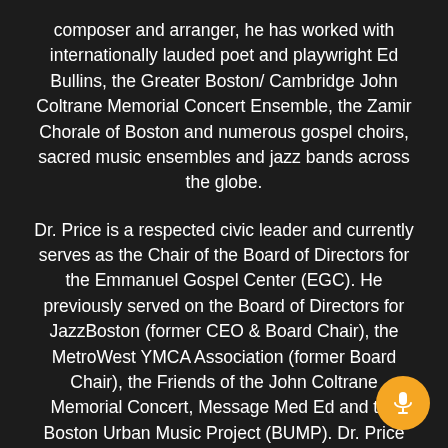composer and arranger, he has worked with internationally lauded poet and playwright Ed Bullins, the Greater Boston/ Cambridge John Coltrane Memorial Concert Ensemble, the Zamir Chorale of Boston and numerous gospel choirs, sacred music ensembles and jazz bands across the globe.
Dr. Price is a respected civic leader and currently serves as the Chair of the Board of Directors for the Emmanuel Gospel Center (EGC). He previously served on the Board of Directors for JazzBoston (former CEO & Board Chair), the MetroWest YMCA Association (former Board Chair), the Friends of the John Coltrane Memorial Concert, Message Med Ed and the Boston Urban Music Project (BUMP). Dr. Price currently serves on the